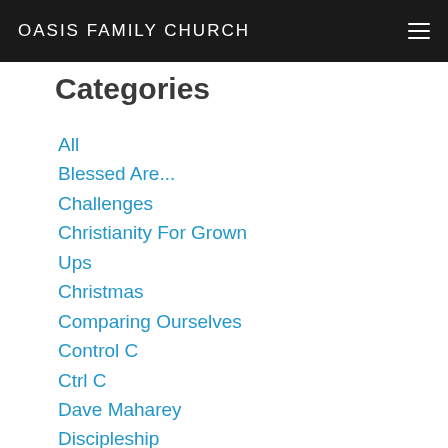OASIS FAMILY CHURCH
Categories
All
Blessed Are...
Challenges
Christianity For Grown Ups
Christmas
Comparing Ourselves
Control C
Ctrl C
Dave Maharey
Discipleship
Easter